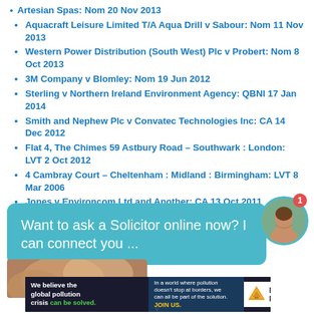Artesian Spas: Nom 20 Nov 2013
Aquacraft Leisure Limited T/A Aqua Drill v Sabour: Nom 11 Nov 2013
Western Power Distribution (South West) Plc v Probert: Nom 8 Oct 2013
3M Company v Blomley: Nom 19 Jun 2012
Sterling v Northern Ireland Environment Agency: QBNI 17 Jan 2014
Smith and Nephew Plc v Convatec Technologies Inc: CA 14 Dec 2012
Flat 4, The Chimes 59 Astbury Road – Southwark : London: LVT 2 Oct 2012
4 Cambray Court – Cheltenham : Midland : Birmingham: LVT 8 Mar 2006
Jones v Environcom Ltd and Another: CA 13 Oct 2011
13 Carysfort Road – Haringey : London: LVT 8 Mar 2006
[Figure (other): Chat widget banner with teal background, text 'Want to ask a Solicitor online now? I can connect you ...' and a circular avatar photo of a woman with a red notification badge showing '1']
[Figure (photo): Partial photo strip showing a person's hand or skin]
[Figure (other): Advertisement banner: 'We believe the global pollution crisis can be solved.' with Pure Earth logo]